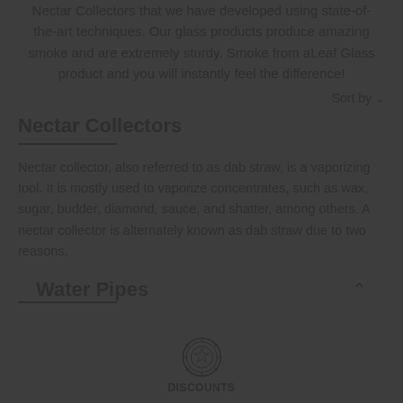Nectar Collectors that we have developed using state-of-the-art techniques. Our glass products produce amazing smoke and are extremely sturdy. Smoke from aLeaf Glass product and you will instantly feel the difference!
Sort by
Nectar Collectors
Nectar collector, also referred to as dab straw, is a vaporizing tool. It is mostly used to vaporize concentrates, such as wax, sugar, budder, diamond, sauce, and shatter, among others. A nectar collector is alternately known as dab straw due to two reasons.
Water Pipes
[Figure (logo): Circular badge/seal icon labeled Discounts at the bottom of the page]